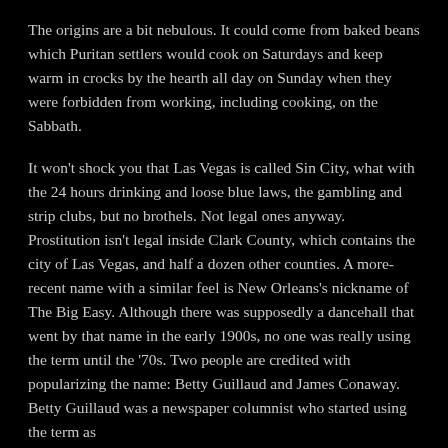The origins are a bit nebulous. It could come from baked beans which Puritan settlers would cook on Saturdays and keep warm in crocks by the hearth all day on Sunday when they were forbidden from working, including cooking, on the Sabbath.
It won't shock you that Las Vegas is called Sin City, what with the 24 hours drinking and loose blue laws, the gambling and strip clubs, but no brothels. Not legal ones anyway. Prostitution isn't legal inside Clark County, which contains the city of Las Vegas, and half a dozen other counties. A more-recent name with a similar feel is New Orleans's nickname of The Big Easy. Although there was supposedly a dancehall that went by that name in the early 1900s, no one was really using the term until the '70s. Two people are credited with popularizing the name: Betty Guillaud and James Conaway. Betty Guillaud was a newspaper columnist who started using the term as